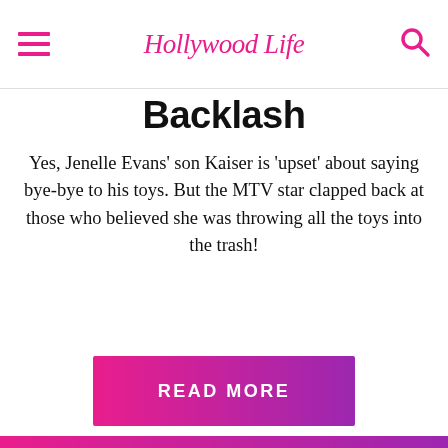Hollywood Life
Backlash
Yes, Jenelle Evans' son Kaiser is 'upset' about saying bye-bye to his toys. But the MTV star clapped back at those who believed she was throwing all the toys into the trash!
READ MORE
JUNE 6, 2019
[Figure (photo): Smiling man with short brown hair outdoors in front of green shrubs and red flowers]